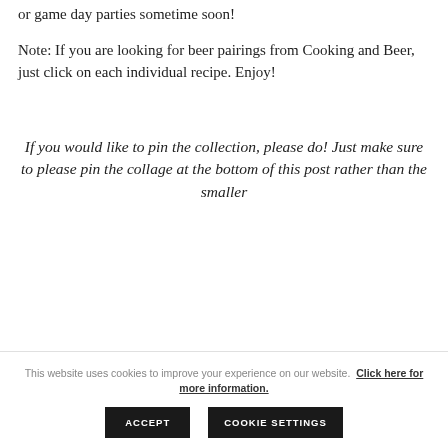or game day parties sometime soon!
Note: If you are looking for beer pairings from Cooking and Beer, just click on each individual recipe. Enjoy!
If you would like to pin the collection, please do! Just make sure to please pin the collage at the bottom of this post rather than the smaller
This website uses cookies to improve your experience on our website. Click here for more information.
ACCEPT
COOKIE SETTINGS